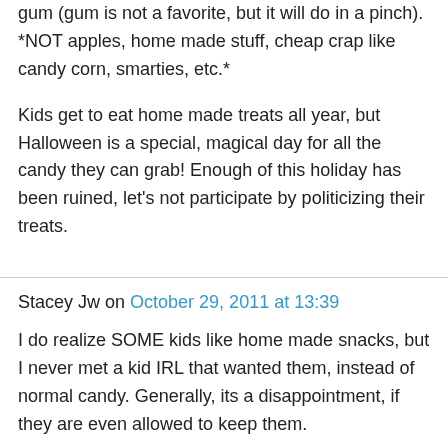gum (gum is not a favorite, but it will do in a pinch). *NOT apples, home made stuff, cheap crap like candy corn, smarties, etc.*
Kids get to eat home made treats all year, but Halloween is a special, magical day for all the candy they can grab! Enough of this holiday has been ruined, let's not participate by politicizing their treats.
Stacey Jw on October 29, 2011 at 13:39
I do realize SOME kids like home made snacks, but I never met a kid IRL that wanted them, instead of normal candy. Generally, its a disappointment, if they are even allowed to keep them.